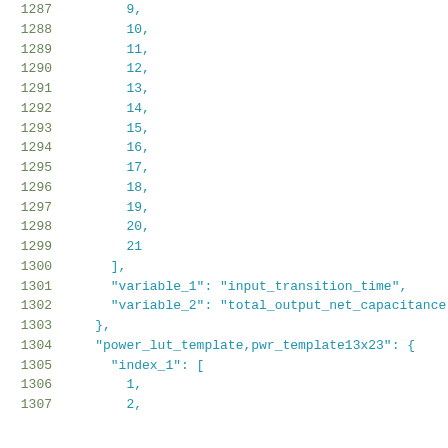Code listing lines 1287-1307 showing JSON data structure with numeric array values and variable name keys
1287    9,
1288    10,
1289    11,
1290    12,
1291    13,
1292    14,
1293    15,
1294    16,
1295    17,
1296    18,
1297    19,
1298    20,
1299    21
1300  ],
1301  "variable_1": "input_transition_time",
1302  "variable_2": "total_output_net_capacitance
1303 },
1304 "power_lut_template,pwr_template13x23": {
1305   "index_1": [
1306     1,
1307     2,